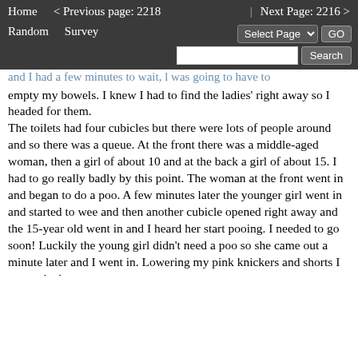Home   < Previous page: 2218   |   Next Page: 2216 >
Random   Survey   Select Page   GO   Search
empty my bowels. I knew I had to find the ladies' right away so I headed for them.
The toilets had four cubicles but there were lots of people around and so there was a queue. At the front there was a middle-aged woman, then a girl of about 10 and at the back a girl of about 15. I had to go really badly by this point. The woman at the front went in and began to do a poo. A few minutes later the younger girl went in and started to wee and then another cubicle opened right away and the 15-year old went in and I heard her start pooing. I needed to go soon! Luckily the young girl didn't need a poo so she came out a minute later and I went in. Lowering my pink knickers and shorts I sat on the loo.
Almost immediately I let out two soft turds and then a fart. A much longer piece started coming out after that. I could hear the 15-year old girl to my left still letting out a few pieces too. My log dropped after a minute and then I started to push out the first of five smaller pieces. By the time I was done the other pooing girl had finished